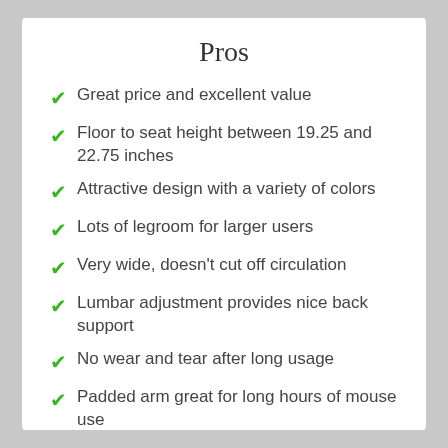Pros
Great price and excellent value
Floor to seat height between 19.25 and 22.75 inches
Attractive design with a variety of colors
Lots of legroom for larger users
Very wide, doesn't cut off circulation
Lumbar adjustment provides nice back support
No wear and tear after long usage
Padded arm great for long hours of mouse use